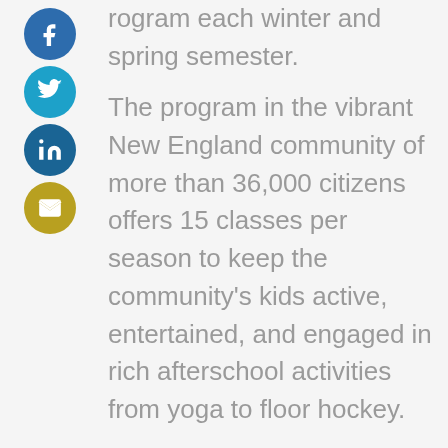rogram each winter and spring semester.
The program in the vibrant New England community of more than 36,000 citizens offers 15 classes per season to keep the community's kids active, entertained, and engaged in rich afterschool activities from yoga to floor hockey.
The Problem
Like many afterschool programs, Middlebrook's enrollment procedures involved a time-consuming process of manually entering the data of each